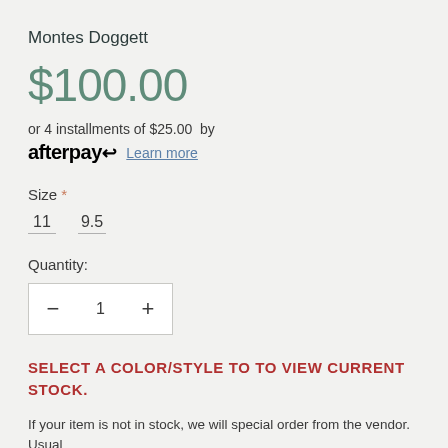Montes Doggett
$100.00
or 4 installments of $25.00  by
afterpay  Learn more
Size *
11   9.5
Quantity:
− 1 +
SELECT A COLOR/STYLE TO TO VIEW CURRENT STOCK.
If your item is not in stock, we will special order from the vendor. Usual